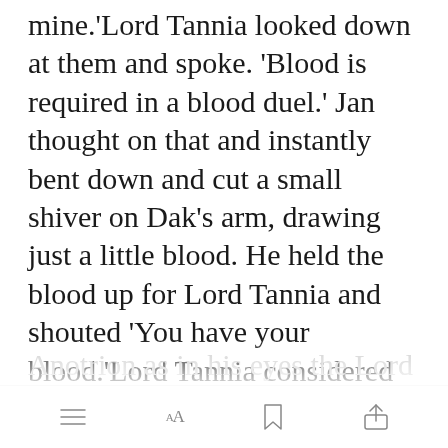mine.'Lord Tannia looked down at them and spoke. 'Blood is required in a blood duel.' Jan thought on that and instantly bent down and cut a small shiver on Dak's arm, drawing just a little blood. He held the blood up for Lord Tannia and shouted 'You have your blood.'Lord Tannia considered the situation. The human had fought fairly and with honour. He was the sur[Open in app]hlete to the Anot...
[menu] [AA] [bookmark] [share]